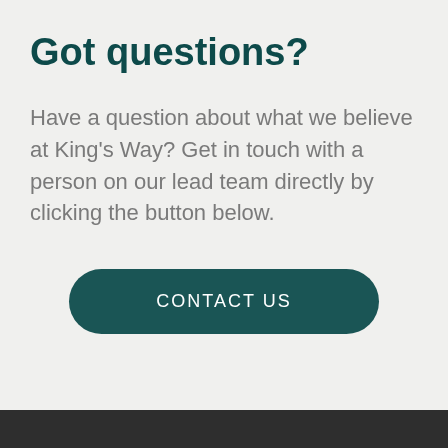Got questions?
Have a question about what we believe at King's Way? Get in touch with a person on our lead team directly by clicking the button below.
[Figure (other): A rounded rectangular button with dark teal background and white uppercase text reading CONTACT US]